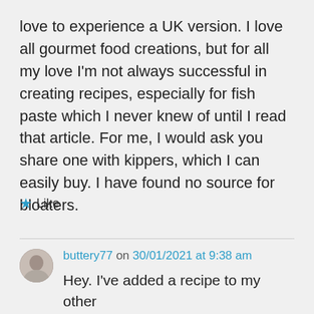love to experience a UK version. I love all gourmet food creations, but for all my love I'm not always successful in creating recipes, especially for fish paste which I never knew of until I read that article. For me, I would ask you share one with kippers, which I can easily buy. I have found no source for bloaters.
★ Like
buttery77 on 30/01/2021 at 9:38 am
Hey. I've added a recipe to my other